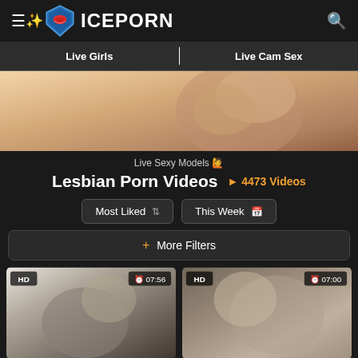ICEPORN
Live Girls | Live Cam Sex
[Figure (photo): Banner image showing close-up skin/hand]
Live Sexy Models 🙋
Lesbian Porn Videos
▶ 4473 Videos
Most Liked  |  This Week
+ More Filters
[Figure (photo): Video thumbnail HD 07:56]
[Figure (photo): Video thumbnail HD 07:00]